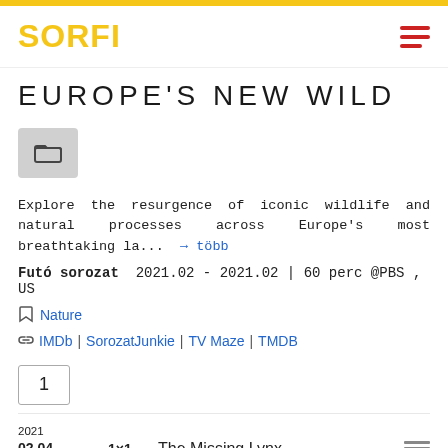SORFI
EUROPE'S NEW WILD
Explore the resurgence of iconic wildlife and natural processes across Europe's most breathtaking la... → több
Futó sorozat 2021.02 - 2021.02 | 60 perc @PBS , US
Nature
IMDb | SorozatJunkie | TV Maze | TMDB
1
2021 02.04. 1x1 04:00 The Missing Lynx
2021 02.11. 1x2 Return of the Titans